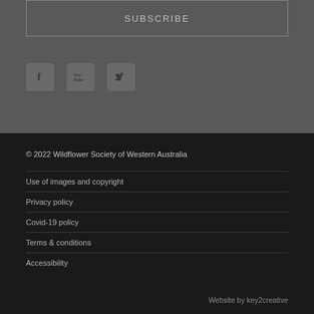SUBSCRIBE
[Figure (illustration): Three social media icon buttons: Facebook (f), YouTube, and Twitter bird icon, displayed as small rounded square icons in gray]
© 2022 Wildflower Society of Western Australia
Use of images and copyright
Privacy policy
Covid-19 policy
Terms & conditions
Accessibility
Website by key2creative